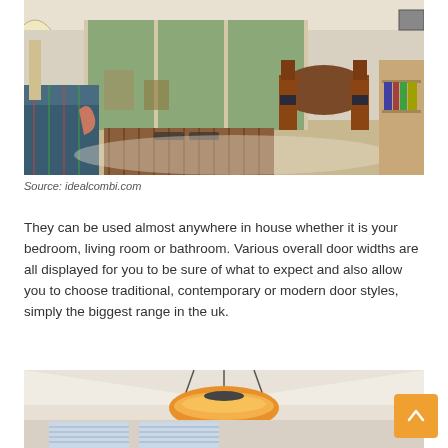[Figure (photo): Interior living room photo showing a sofa in the foreground, a wooden slatted coffee table with remote controls, dining chairs and round table near large glass sliding doors opening to a garden, and a bookshelf on the right.]
Source: idealcombi.com
They can be used almost anywhere in house whether it is your bedroom, living room or bathroom. Various overall door widths are all displayed for you to be sure of what to expect and also allow you to choose traditional, contemporary or modern door styles, simply the biggest range in the uk.
[Figure (photo): Interior room photo showing a ceiling with a large round pendant light fixture (amber/orange glass bowl shade), white walls, and windows with blinds in the background.]